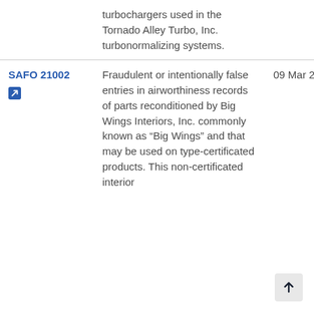| ID | Description | Date |
| --- | --- | --- |
|  | turbochargers used in the Tornado Alley Turbo, Inc. turbonormalizing systems. |  |
| SAFO 21002 | Fraudulent or intentionally false entries in airworthiness records of parts reconditioned by Big Wings Interiors, Inc. commonly known as “Big Wings” and that may be used on type-certificated products. This non-certificated interior | 09 Mar 2021 |